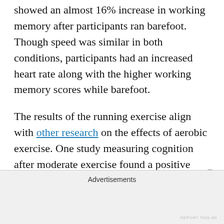showed an almost 16% increase in working memory after participants ran barefoot. Though speed was similar in both conditions, participants had an increased heart rate along with the higher working memory scores while barefoot.
The results of the running exercise align with other research on the effects of aerobic exercise. One study measuring cognition after moderate exercise found a positive correlation between aerobic exercise and cognition. The results also suggested that people who are more physically fit may have longer lasting improved executive brain function. Others studies with adolescents and
Advertisements